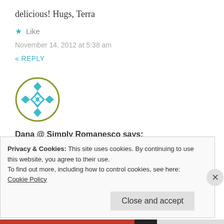delicious! Hugs, Terra
★ Like
November 14, 2012 at 5:38 am
« REPLY
[Figure (illustration): Circular avatar with teal geometric diamond/quilt pattern inside a olive-green circle border]
Dana @ Simply Romanesco says:
These biscuits look so delicious! And what an
Privacy & Cookies: This site uses cookies. By continuing to use this website, you agree to their use.
To find out more, including how to control cookies, see here:
Cookie Policy
Close and accept